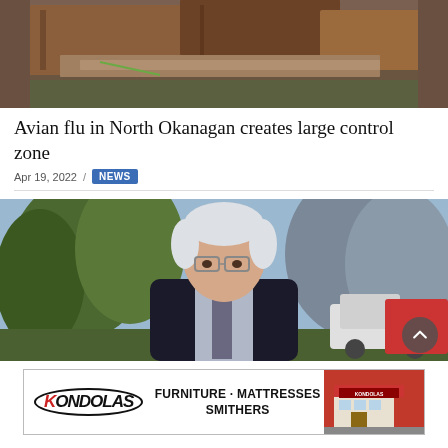[Figure (photo): Close-up photo of rusty metal and weathered wooden boards, likely agricultural or industrial equipment]
Avian flu in North Okanagan creates large control zone
Apr 19, 2022 / NEWS
[Figure (photo): Older man with white hair and glasses wearing a dark blazer and tie, standing outdoors in front of trees, appears to be a news report or press conference setting with a truck visible in background]
[Figure (other): Advertisement for Kondolas Furniture - Mattresses, Smithers]